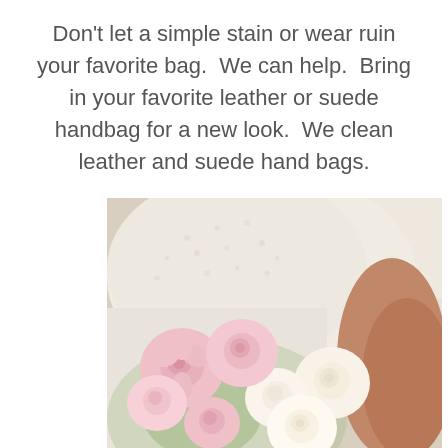Don't let a simple stain or wear ruin your favorite bag.  We can help.  Bring in your favorite leather or suede handbag for a new look.  We clean leather and suede hand bags.
[Figure (photo): A bride in a white lace wedding dress holding a bouquet of pink and white/cream roses, photographed from behind/side angle, with a blurred background.]